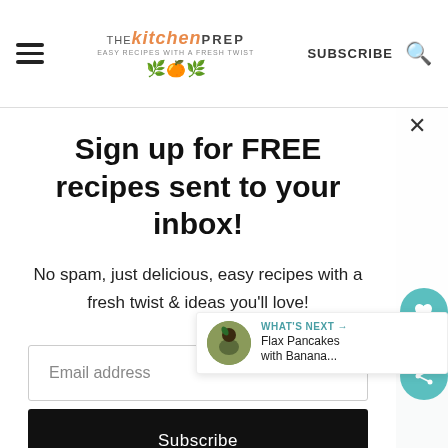THE kitchen PREP — EASY RECIPES WITH A FRESH TWIST — SUBSCRIBE
Sign up for FREE recipes sent to your inbox!
No spam, just delicious, easy recipes with a fresh twist & ideas you'll love!
Email address
Subscribe
WHAT'S NEXT → Flax Pancakes with Banana...
[Figure (photo): Person photo partially visible at bottom of page]